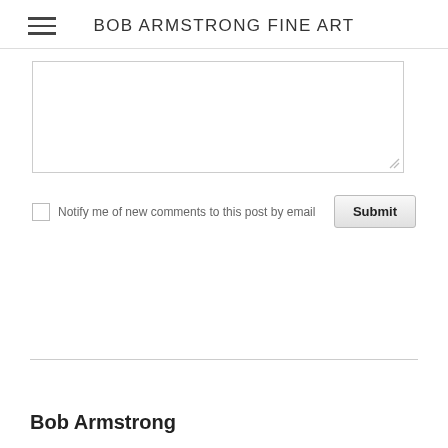BOB ARMSTRONG FINE ART
[Text area input field]
Notify me of new comments to this post by email
Submit
Bob Armstrong